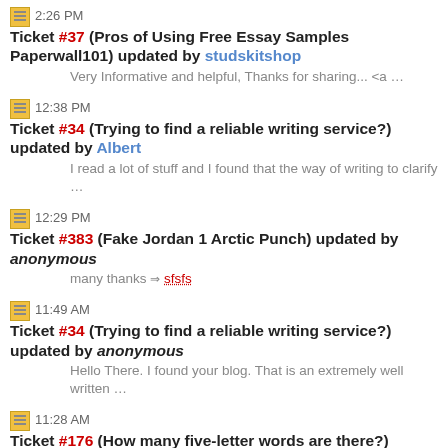2:26 PM Ticket #37 (Pros of Using Free Essay Samples Paperwall101) updated by studskitshop
Very Informative and helpful, Thanks for sharing... <a ...
12:38 PM Ticket #34 (Trying to find a reliable writing service?) updated by Albert
I read a lot of stuff and I found that the way of writing to clarify ...
12:29 PM Ticket #383 (Fake Jordan 1 Arctic Punch) updated by anonymous
many thanks ⇒ sfsfs
11:49 AM Ticket #34 (Trying to find a reliable writing service?) updated by anonymous
Hello There. I found your blog. That is an extremely well written ...
11:28 AM Ticket #176 (How many five-letter words are there?) updated by Marygal
Really helpful for my younger kids. great website, do keep us updated. ...
11:01 AM Ticket #236 (Best Drywall Contractors in